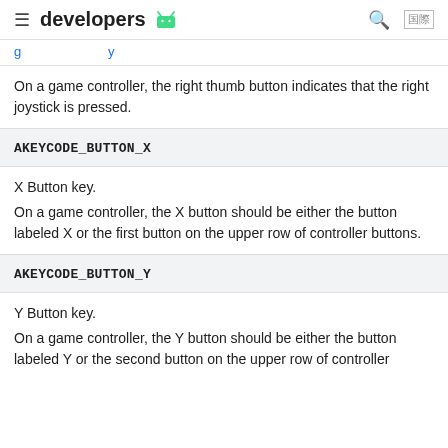developers
On a game controller, the right thumb button indicates that the right joystick is pressed.
AKEYCODE_BUTTON_X
X Button key.
On a game controller, the X button should be either the button labeled X or the first button on the upper row of controller buttons.
AKEYCODE_BUTTON_Y
Y Button key.
On a game controller, the Y button should be either the button labeled Y or the second button on the upper row of controller